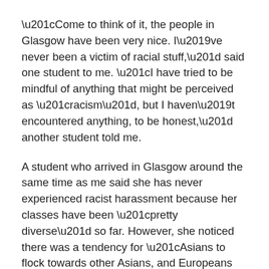“Come to think of it, the people in Glasgow have been very nice. I’ve never been a victim of racial stuff,” said one student to me. “I have tried to be mindful of anything that might be perceived as “racism”, but I haven’t encountered anything, to be honest,” another student told me.
A student who arrived in Glasgow around the same time as me said she has never experienced racist harassment because her classes have been “pretty diverse” so far. However, she noticed there was a tendency for “Asians to flock towards other Asians, and Europeans towards other Europeans” when forming discussion groups. A postgraduate student I spoke to also observed a similar pattern in his classes.
“Based on my observation, international students tend to stick to their own nationalities or other racial groups that speak their language. So there doesn’t seem to be